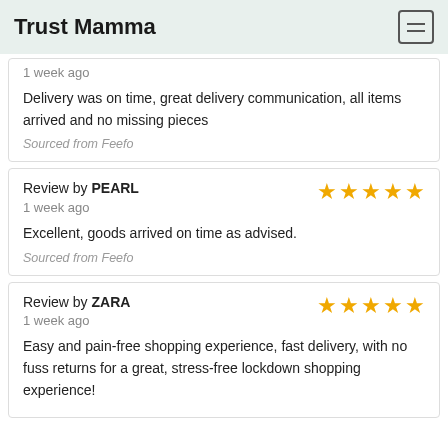Trust Mamma
1 week ago
Delivery was on time, great delivery communication, all items arrived and no missing pieces
Sourced from Feefo
Review by PEARL
1 week ago
Excellent, goods arrived on time as advised.
Sourced from Feefo
Review by ZARA
1 week ago
Easy and pain-free shopping experience, fast delivery, with no fuss returns for a great, stress-free lockdown shopping experience!